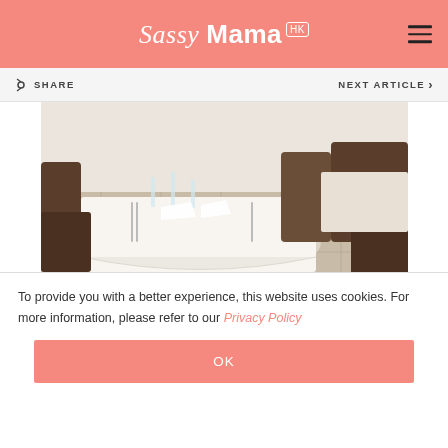Sassy Mama HK
[Figure (photo): Interior of an Italian restaurant showing white-tablecloth dining tables set with glasses and cutlery, dark wooden chairs, marble tile flooring]
Giandomenico “Gianni” Caprioli was previously the Executive Chef at Isola before deciding to open his own place. It’s clear that he wanted to create a restaurant that not only served the best taste of Italy, but also gave that experience of Italian service and...
To provide you with a better experience, this website uses cookies. For more information, please refer to our Privacy Policy
OK